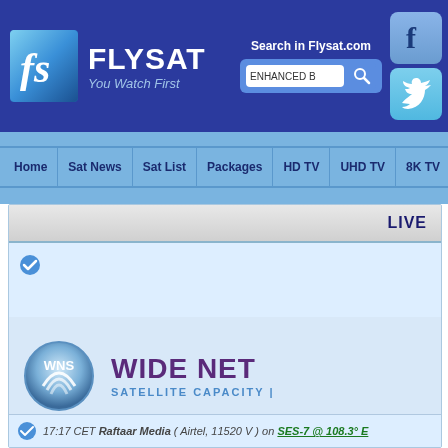[Figure (screenshot): Flysat.com website header with logo 'fs FLYSAT You Watch First', search bar labeled 'ENHANCED B', Facebook and Twitter social icons, navigation bar with Home, Sat News, Sat List, Packages, HD TV, UHD TV, 8K TV, HEVC, FTA, content area showing WNS logo with 'WIDE NET' and 'SATELLITE CAPACITY' text, LIVE label, and status row showing '17:17 CET Raftaar Media (Airtel, 11520 V) on SES-7 @ 108.3° E']